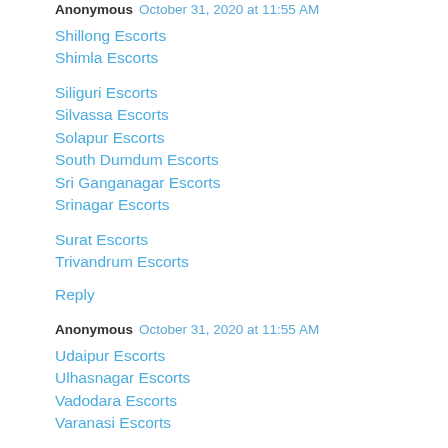Anonymous  October 31, 2020 at 11:55 AM
Shillong Escorts
Shimla Escorts
Siliguri Escorts
Silvassa Escorts
Solapur Escorts
South Dumdum Escorts
Sri Ganganagar Escorts
Srinagar Escorts
Surat Escorts
Trivandrum Escorts
Reply
Anonymous  October 31, 2020 at 11:55 AM
Udaipur Escorts
Ulhasnagar Escorts
Vadodara Escorts
Varanasi Escorts